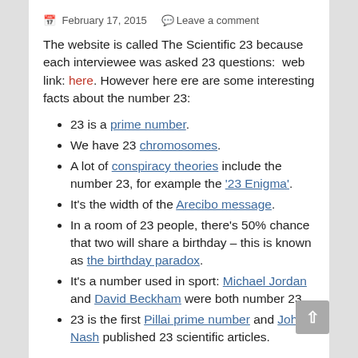February 17, 2015   Leave a comment
The website is called The Scientific 23 because each interviewee was asked 23 questions:  web link: here. However here ere are some interesting facts about the number 23:
23 is a prime number.
We have 23 chromosomes.
A lot of conspiracy theories include the number 23, for example the '23 Enigma'.
It's the width of the Arecibo message.
In a room of 23 people, there's 50% chance that two will share a birthday – this is known as the birthday paradox.
It's a number used in sport: Michael Jordan and David Beckham were both number 23.
23 is the first Pillai prime number and John Nash published 23 scientific articles.